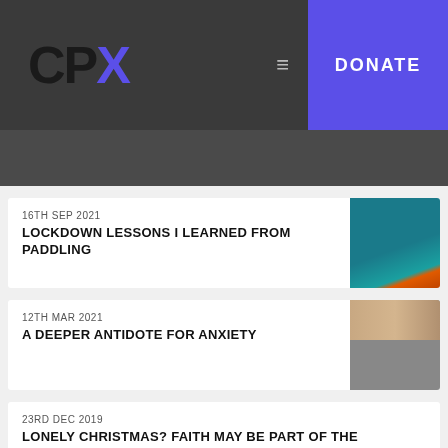CPX — DONATE
16TH SEP 2021
LOCKDOWN LESSONS I LEARNED FROM PADDLING
12TH MAR 2021
A DEEPER ANTIDOTE FOR ANXIETY
23RD DEC 2019
LONELY CHRISTMAS? FAITH MAY BE PART OF THE PROBLEM - AND THE SOLUTION